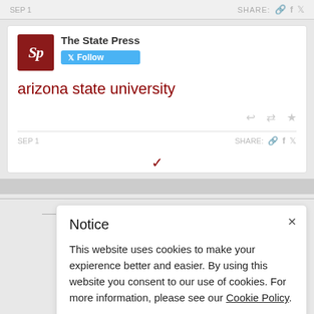[Figure (screenshot): Screenshot of a Twitter/social embed widget showing The State Press account with a tweet about arizona state university, with follow button, action icons, and a chevron navigation element]
Notice
This website uses cookies to make your expierence better and easier. By using this website you consent to our use of cookies. For more information, please see our Cookie Policy.